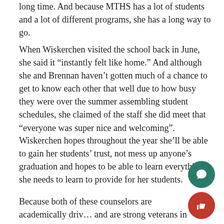long time. And because MTHS has a lot of students and a lot of different programs, she has a long way to go.
When Wiskerchen visited the school back in June, she said it “instantly felt like home.” And although she and Brennan haven’t gotten much of a chance to get to know each other that well due to how busy they were over the summer assembling student schedules, she claimed of the staff she did meet that “everyone was super nice and welcoming”.
Wiskerchen hopes throughout the year she’ll be able to gain her students’ trust, not mess up anyone’s graduation and hopes to be able to learn everything she needs to learn to provide for her students.
Because both of these counselors are academically driven and are strong veterans in counseling, Schellenberg predicts that the students will see that they are two very confident and competent counselors.